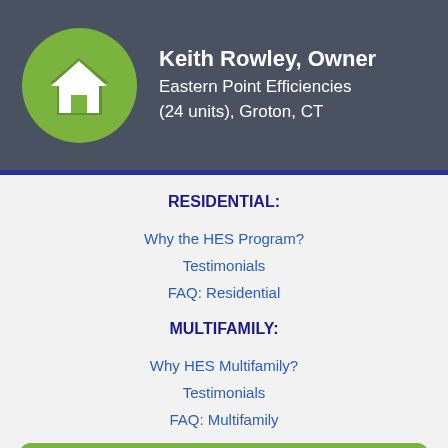Keith Rowley, Owner
Eastern Point Efficiencies (24 units), Groton, CT
RESIDENTIAL:
Why the HES Program?
Testimonials
FAQ: Residential
MULTIFAMILY:
Why HES Multifamily?
Testimonials
FAQ: Multifamily
Call Today!
Schedule your appointment and start saving right now!